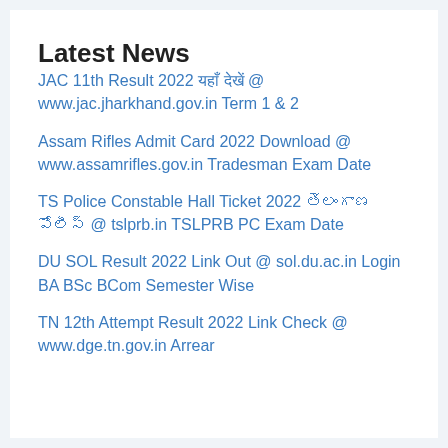Latest News
JAC 11th Result 2022 यहाँ देखें @ www.jac.jharkhand.gov.in Term 1 & 2
Assam Rifles Admit Card 2022 Download @ www.assamrifles.gov.in Tradesman Exam Date
TS Police Constable Hall Ticket 2022 తెలంగాణ పోలీస్ @ tslprb.in TSLPRB PC Exam Date
DU SOL Result 2022 Link Out @ sol.du.ac.in Login BA BSc BCom Semester Wise
TN 12th Attempt Result 2022 Link Check @ www.dge.tn.gov.in Arrear